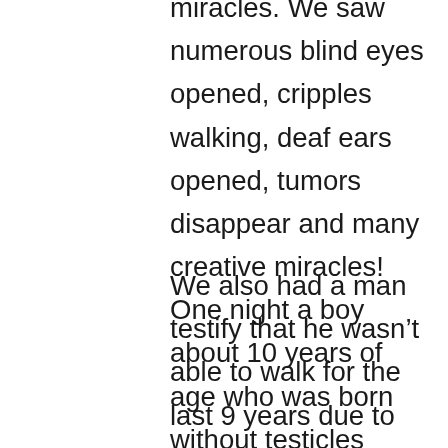miracles. We saw numerous blind eyes opened, cripples walking, deaf ears opened, tumors disappear and many creative miracles! One night a boy about 10 years of age who was born without testicles received a creative miracle! God performed the miracle as the boy stood in the crowd! The mother came to the stage and shared the story with everyone. The crowd erupted with praise and thanksgiving!
We also had a man testify that he wasn't able to walk for the last 9 years due to an accident that crushed his back. After the prayer of faith was offered, strength immediately came to his legs! We also